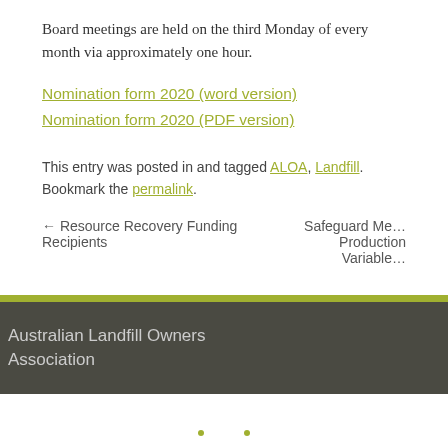Board meetings are held on the third Monday of every month via approximately one hour.
Nomination form 2020 (word version)
Nomination form 2020 (PDF version)
This entry was posted in and tagged ALOA, Landfill. Bookmark the permalink.
← Resource Recovery Funding Recipients
Safeguard Me… Production Variable…
Australian Landfill Owners Association